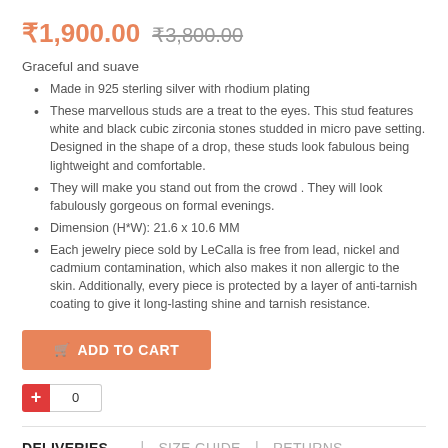₹1,900.00 ₹3,800.00
Graceful and suave
Made in 925 sterling silver with rhodium plating
These marvellous studs are a treat to the eyes. This stud features white and black cubic zirconia stones studded in micro pave setting. Designed in the shape of a drop, these studs look fabulous being lightweight and comfortable.
They will make you stand out from the crowd . They will look fabulously gorgeous on formal evenings.
Dimension (H*W): 21.6 x 10.6 MM
Each jewelry piece sold by LeCalla is free from lead, nickel and cadmium contamination, which also makes it non allergic to the skin. Additionally, every piece is protected by a layer of anti-tarnish coating to give it long-lasting shine and tarnish resistance.
ADD TO CART
0
DELIVERIES | SIZE GUIDE | RETURNS
Every jewelry package from us arrives in a durable, tamper-proof and